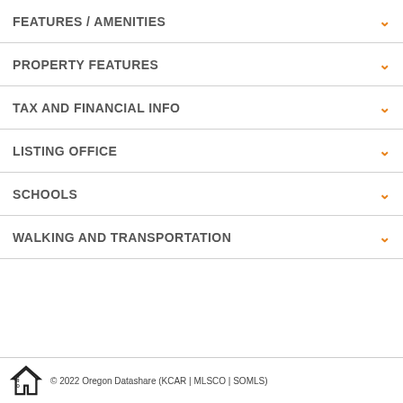FEATURES / AMENITIES
PROPERTY FEATURES
TAX AND FINANCIAL INFO
LISTING OFFICE
SCHOOLS
WALKING AND TRANSPORTATION
© 2022 Oregon Datashare (KCAR | MLSCO | SOMLS)